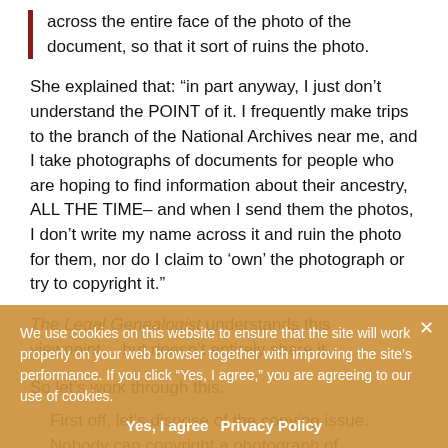across the entire face of the photo of the document, so that it sort of ruins the photo.
She explained that: “in part anyway, I just don’t understand the POINT of it. I frequently make trips to the branch of the National Archives near me, and I take photographs of documents for people who are hoping to find information about their ancestry, ALL THE TIME– and when I send them the photos, I don’t write my name across it and ruin the photo for them, nor do I claim to ‘own’ the photograph or try to copyright it.”
The Legal Genealogist understands this viewpoint... but doesn’t entirely share it.
So let’s work through this.
First off, let’s dispose of the copying issue. Nobody can copyright a photograph of something someone else has created. Photography is trying to exactly reproduce what some other person has
We use cookies on this website to ensure that the site will work properly on your web browser together with improving the site’s performance. If you click “Yes, I agree,” you are agreeing to our use of cookies.
Yes, I agree   Privacy Policy